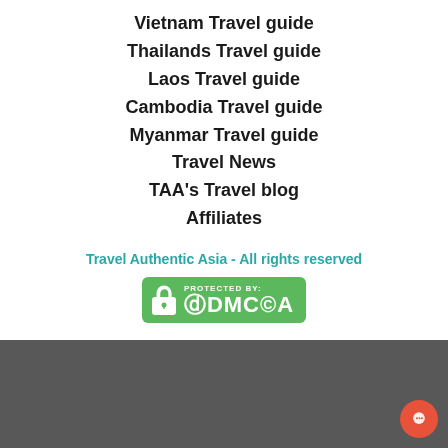Vietnam Travel guide
Thailands Travel guide
Laos Travel guide
Cambodia Travel guide
Myanmar Travel guide
Travel News
TAA's Travel blog
Affiliates
Travel Authentic Asia - All rights reserved
[Figure (logo): DMCA Protected By badge - green rounded rectangle with lock icon and DMCA text]